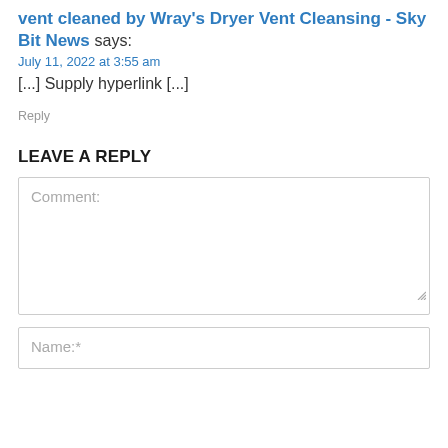vent cleaned by Wray's Dryer Vent Cleansing - Sky Bit News says:
July 11, 2022 at 3:55 am
[...] Supply hyperlink [...]
Reply
LEAVE A REPLY
Comment:
Name:*